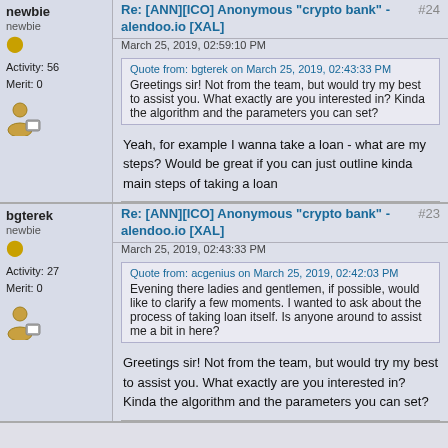newbie
Activity: 56
Merit: 0
Re: [ANN][ICO] Anonymous "crypto bank" - alendoo.io [XAL]
#24
March 25, 2019, 02:59:10 PM
Quote from: bgterek on March 25, 2019, 02:43:33 PM
Greetings sir! Not from the team, but would try my best to assist you. What exactly are you interested in? Kinda the algorithm and the parameters you can set?
Yeah, for example I wanna take a loan - what are my steps? Would be great if you can just outline kinda main steps of taking a loan
bgterek
newbie
Activity: 27
Merit: 0
Re: [ANN][ICO] Anonymous "crypto bank" - alendoo.io [XAL]
#23
March 25, 2019, 02:43:33 PM
Quote from: acgenius on March 25, 2019, 02:42:03 PM
Evening there ladies and gentlemen, if possible, would like to clarify a few moments. I wanted to ask about the process of taking loan itself. Is anyone around to assist me a bit in here?
Greetings sir! Not from the team, but would try my best to assist you. What exactly are you interested in? Kinda the algorithm and the parameters you can set?